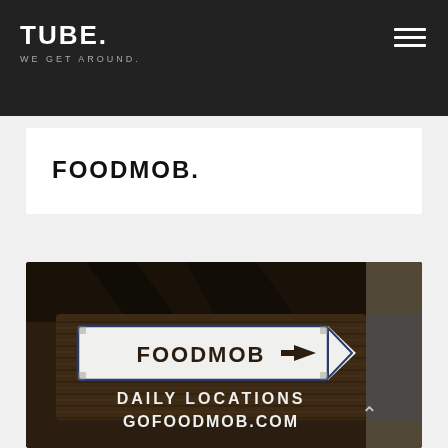TUBE. WE GET AROUND.
FOODMOB.
[Figure (photo): Photo of a brown highway-style directional sign reading 'FOODMOB' with an arrow pointing right, below it text reads 'DAILY LOCATIONS GOFOODMOB.COM']